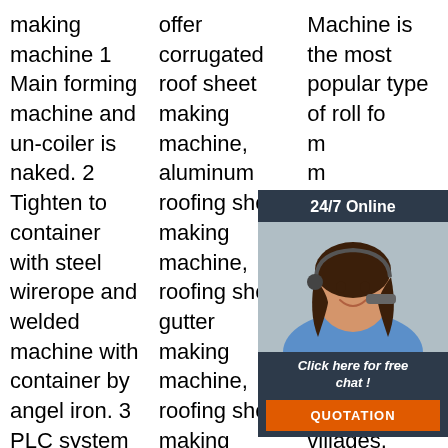making machine 1 Main forming machine and un-coiler is naked. 2 Tighten to container with steel wirerope and welded machine with container by angel iron. 3 PLC system and motor can be packed in waterproof
offer corrugated roof sheet making machine, aluminum roofing sheet making machine, roofing sheet gutter making machine, roofing sheet making machines, metal roofing sheet making machine
Machine is the most popular type of roll forming machine, sheet structure, workshop, the other industry buildings, factory, villages, warehouses, supermarkets, hotels
[Figure (photo): Customer service widget with '24/7 Online' header, photo of woman with headset, 'Click here for free chat!' text, and orange QUOTATION button]